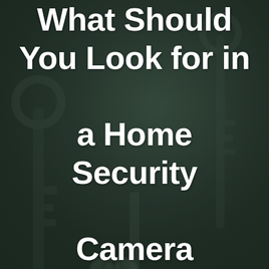[Figure (photo): Dark teal/green toned background photo of vintage keys hanging, with a heart-shaped padlock in the center. The image is desaturated and darkened to serve as a background.]
What Should You Look for in a Home Security Camera